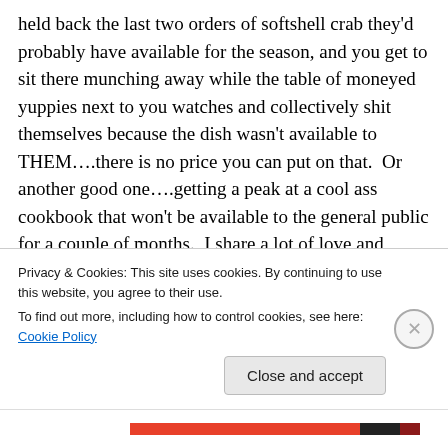held back the last two orders of softshell crab they'd probably have available for the season, and you get to sit there munching away while the table of moneyed yuppies next to you watches and collectively shit themselves because the dish wasn't available to THEM….there is no price you can put on that.  Or another good one….getting a peak at a cool ass cookbook that won't be available to the general public for a couple of months.  I share a lot of love and respect with many local restaurateurs, but when it comes down to brass tacks….they are there to make a
Privacy & Cookies: This site uses cookies. By continuing to use this website, you agree to their use.
To find out more, including how to control cookies, see here: Cookie Policy
Close and accept